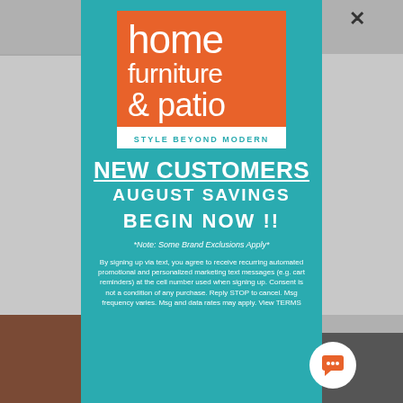[Figure (logo): Home Furniture & Patio logo - orange square with white text reading 'home furniture & patio' and white bar below with teal text 'STYLE BEYOND MODERN']
NEW CUSTOMERS
AUGUST SAVINGS
BEGIN NOW !!
*Note: Some Brand Exclusions Apply*
By signing up via text, you agree to receive recurring automated promotional and personalized marketing text messages (e.g. cart reminders) at the cell number used when signing up. Consent is not a condition of any purchase. Reply STOP to cancel. Msg frequency varies. Msg and data rates may apply. View TERMS